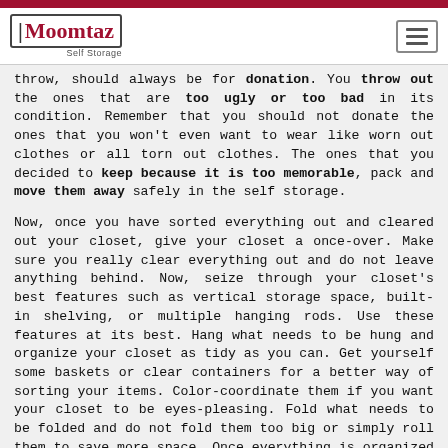Moomtaz Self Storage
throw, should always be for donation. You throw out the ones that are too ugly or too bad in its condition. Remember that you should not donate the ones that you won't even want to wear like worn out clothes or all torn out clothes. The ones that you decided to keep because it is too memorable, pack and move them away safely in the self storage.
Now, once you have sorted everything out and cleared out your closet, give your closet a once-over. Make sure you really clear everything out and do not leave anything behind. Now, seize through your closet's best features such as vertical storage space, built-in shelving, or multiple hanging rods. Use these features at its best. Hang what needs to be hung and organize your closet as tidy as you can. Get yourself some baskets or clear containers for a better way of sorting your items. Color-coordinate them if you want your closet to be eyes-pleasing. Fold what needs to be folded and do not fold them too big or simply roll them to save more space. Once everything is organized and stacked nicely, you are now good to go!